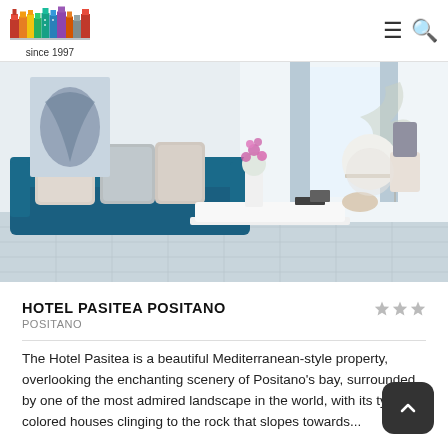since 1997
[Figure (photo): Interior photo of Hotel Pasitea Positano showing a bright Mediterranean-style lounge with a blue sofa with grey and white cushions, a white coffee table with orchid flowers, and a seating area in the background with white chairs and a tree mural on the wall.]
HOTEL PASITEA POSITANO
POSITANO
The Hotel Pasitea is a beautiful Mediterranean-style property, overlooking the enchanting scenery of Positano's bay, surrounded by one of the most admired landscape in the world, with its typical colored houses clinging to the rock that slopes towards...